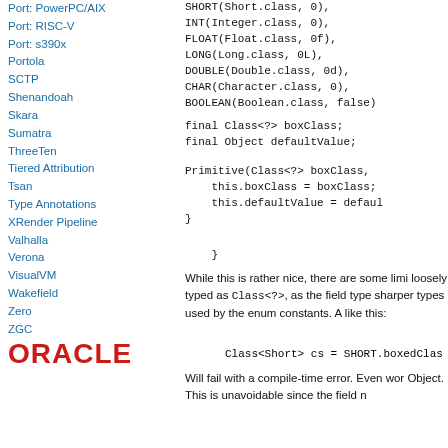Port: PowerPC/AIX
Port: RISC-V
Port: s390x
Portola
SCTP
Shenandoah
Skara
Sumatra
ThreeTen
Tiered Attribution
Tsan
Type Annotations
XRender Pipeline
Valhalla
Verona
VisualVM
Wakefield
Zero
ZGC
[Figure (logo): Oracle logo in red bold text]
SHORT(Short.class, 0),
INT(Integer.class, 0),
FLOAT(Float.class, 0f),
LONG(Long.class, 0L),
DOUBLE(Double.class, 0d),
CHAR(Character.class, 0),
BOOLEAN(Boolean.class, false)
final Class<?> boxClass;
final Object defaultValue;
Primitive(Class<?> boxClass,
    this.boxClass = boxClass;
    this.defaultValue = defaul
}
}
While this is rather nice, there are some limi loosely typed as Class<?>, as the field type sharper types used by the enum constants. A like this:
Class<Short> cs = SHORT.boxedClas
Will fail with a compile-time error. Even wor Object. This is unavoidable since the field n